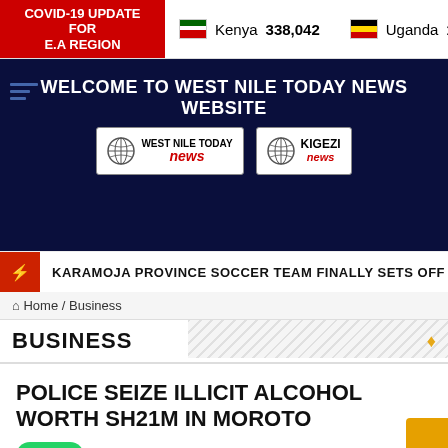COVID-19 UPDATE FOR E.A REGION — Kenya 338,042 Uganda 169,3…
[Figure (screenshot): West Nile Today News website header banner with logos for West Nile Today News and Kigezi News on dark navy background]
KARAMOJA PROVINCE SOCCER TEAM FINALLY SETS OFF TO ARU…
Home / Business
BUSINESS
POLICE SEIZE ILLICIT ALCOHOL WORTH SH21M IN MOROTO
ago
ess, Crime, Eastern, Governance, Health, Karamoja, News, Regional
ncategorized